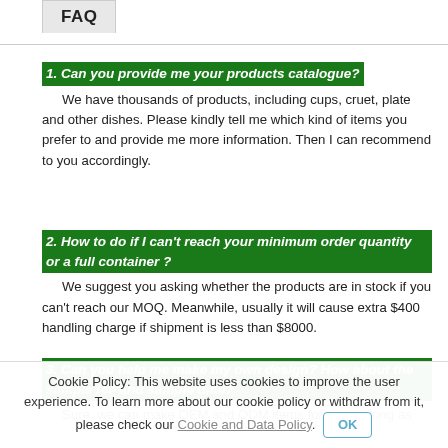FAQ
1. Can you provide me your products catalogue?
We have thousands of products, including cups, cruet, plate and other dishes. Please kindly tell me which kind of items you prefer to and provide me more information. Then I can recommend to you accordingly.
2. How to do if I can't reach your minimum order quantity or a full container ?
We suggest you asking whether the products are in stock if you can't reach our MOQ. Meanwhile, usually it will cause extra $400 handling charge if shipment is less than $8000.
3. Can you help me make my own design? How about the sample fee and sample time?
Sure, we can make OEM and ODM items for you as long as…
Cookie Policy: This website uses cookies to improve the user experience. To learn more about our cookie policy or withdraw from it, please check our Cookie and Data Policy.